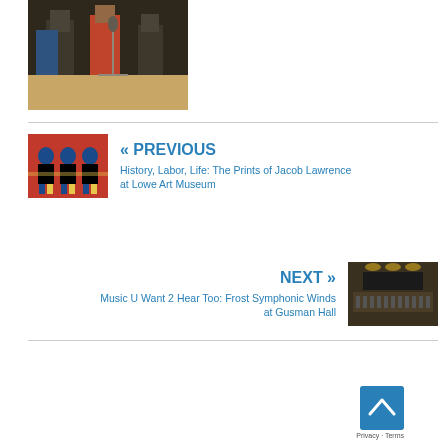[Figure (photo): Performance photo showing musicians/performers on stage with microphone stand, one person in red dress]
[Figure (photo): Colorful painting/artwork showing stylized figures in blue on red background - Jacob Lawrence prints thumbnail]
« PREVIOUS
History, Labor, Life: The Prints of Jacob Lawrence at Lowe Art Museum
NEXT »
Music U Want 2 Hear Too: Frost Symphonic Winds at Gusman Hall
[Figure (photo): Orchestra performing on stage at Gusman Hall, viewed from above/behind]
[Figure (illustration): Scroll to top button - blue square with upward arrow icon]
Privacy · Terms